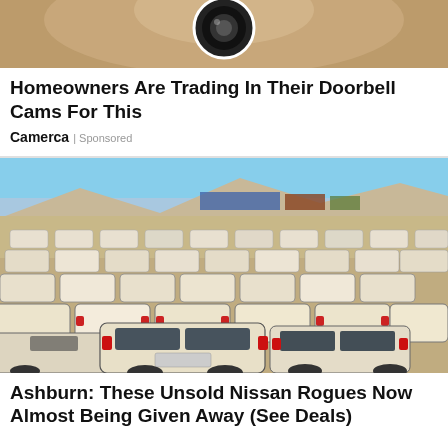[Figure (photo): Top portion of a security camera close-up image, cropped at top of page]
Homeowners Are Trading In Their Doorbell Cams For This
Camerca | Sponsored
[Figure (photo): Large outdoor lot filled with rows of white Nissan Rogue SUVs covered in dust, with mountains and blue sky in background]
Ashburn: These Unsold Nissan Rogues Now Almost Being Given Away (See Deals)